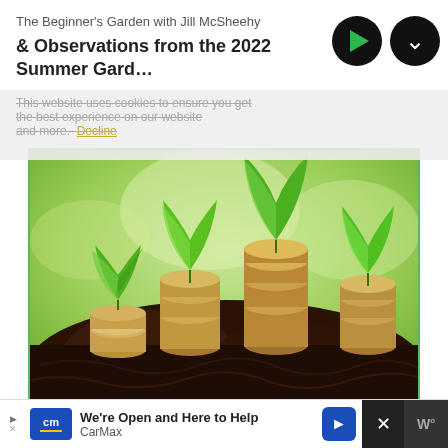The Beginner's Garden with Jill McSheehy
& Observations from the 2022 Summer Gard…
This website uses cookies to ensure you get the best experience on our website and more. Decline
[Figure (photo): Four stacks of coins in increasing height growing from dark soil, each topped with a small green seedling plant, against a blurred green background.]
Gardening on a Budget:
We're Open and Here to Help CarMax